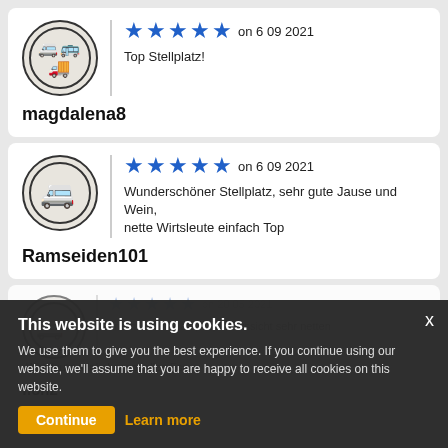[Figure (other): Review card for magdalena8 with 5 blue stars, dated 6 09 2021, text: Top Stellplatz!, username: magdalena8]
[Figure (other): Review card for Ramseiden101 with 5 blue stars, dated 6 09 2021, text: Wunderschöner Stellplatz, sehr gute Jause und Wein, nette Wirtsleute einfach Top, username: Ramseiden101]
[Figure (other): Partially visible review for floh2, dated 20 05 2021, partially obscured by cookie banner]
This website is using cookies. We use them to give you the best experience. If you continue using our website, we'll assume that you are happy to receive all cookies on this website.
Continue  Learn more